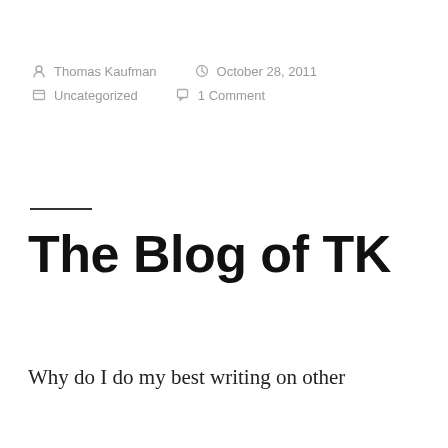Thomas Kaufman   October 28, 2011
Uncategorized   1 Comment
The Blog of TK
Why do I do my best writing on other